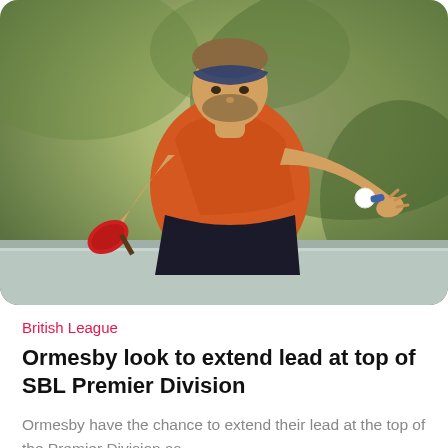[Figure (photo): A male table tennis player wearing an orange sleeveless shirt and dark bandana headband, leaning forward over a table tennis table in an action pose, holding a red paddle, with a white ball in the air. Background is blurred green foliage.]
British League
Ormesby look to extend lead at top of SBL Premier Division
Ormesby have the chance to extend their lead at the top of the Premier Division as